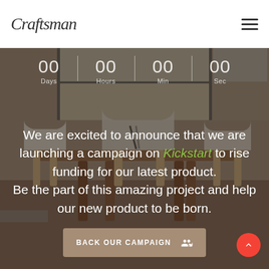[Figure (logo): Craftsman cursive script logo in dark grey]
[Figure (photo): Background photo of a modern office/meeting room with wooden table and white chairs, dark overlay applied]
00 Days  00 Hours  00 Min  00 Sec
We are excited to announce that we are launching a campaign on Kickstart to rise funding for our latest product. Be the part of this amazing project and help our new product to be born.
BACK OUR CAMPAIGN